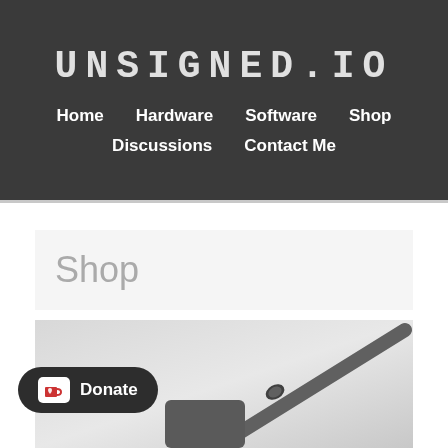unsigned.io
Home
Hardware
Software
Shop
Discussions
Contact Me
Shop
[Figure (photo): Close-up photo of a dark grey antenna or rod-like hardware component against a light grey background]
Donate